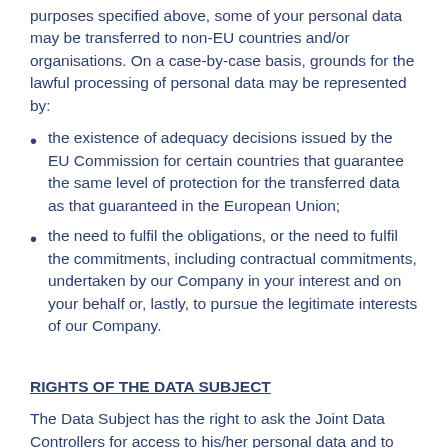purposes specified above, some of your personal data may be transferred to non-EU countries and/or organisations. On a case-by-case basis, grounds for the lawful processing of personal data may be represented by:
the existence of adequacy decisions issued by the EU Commission for certain countries that guarantee the same level of protection for the transferred data as that guaranteed in the European Union;
the need to fulfil the obligations, or the need to fulfil the commitments, including contractual commitments, undertaken by our Company in your interest and on your behalf or, lastly, to pursue the legitimate interests of our Company.
RIGHTS OF THE DATA SUBJECT
The Data Subject has the right to ask the Joint Data Controllers for access to his/her personal data and to correct them if inaccurate, delete them, or restrict their processing where the conditions are met to do so, or to